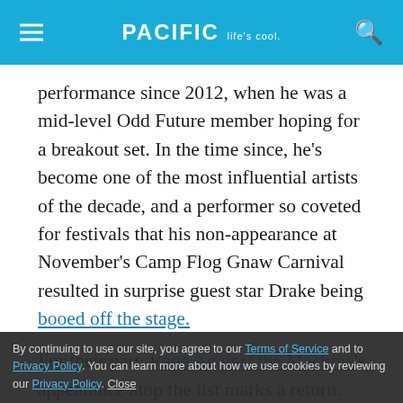PACIFIC Life's cool.
performance since 2012, when he was a mid-level Odd Future member hoping for a breakout set. In the time since, he's become one of the most influential artists of the decade, and a performer so coveted for festivals that his non-appearance at November's Camp Flog Gnaw Carnival resulted in surprise guest star Drake being booed off the stage.
For their part, Rage Against the Machine's appearance atop the list marks a return. The Los Angeles rap-rock
conquer it again in 2007. The band has been teasing a 2020 mission since the fall.
By continuing to use our site, you agree to our Terms of Service and Privacy Policy. You can learn more about how we use cookies by reviewing our Privacy Policy. Close